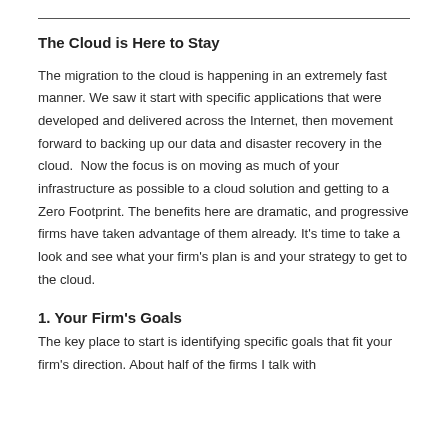The Cloud is Here to Stay
The migration to the cloud is happening in an extremely fast manner. We saw it start with specific applications that were developed and delivered across the Internet, then movement forward to backing up our data and disaster recovery in the cloud.  Now the focus is on moving as much of your infrastructure as possible to a cloud solution and getting to a Zero Footprint. The benefits here are dramatic, and progressive firms have taken advantage of them already. It's time to take a look and see what your firm's plan is and your strategy to get to the cloud.
1. Your Firm's Goals
The key place to start is identifying specific goals that fit your firm's direction. About half of the firms I talk with...